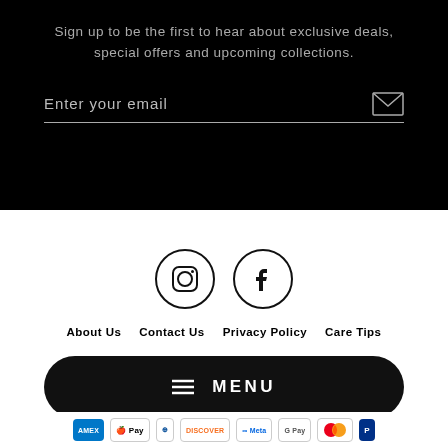Sign up to be the first to hear about exclusive deals, special offers and upcoming collections.
Enter your email
[Figure (screenshot): Social media icons: Instagram (circle with camera icon) and Facebook (circle with f icon)]
About Us
Contact Us
Privacy Policy
Care Tips
MENU
[Figure (logo): Payment method logos: AMEX, Apple Pay, Diners, Discover, Meta, Google Pay, Mastercard, PayPal]